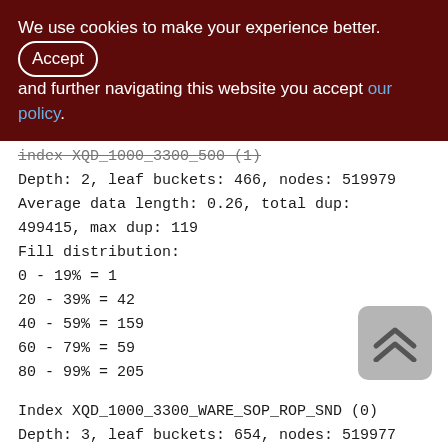We use cookies to make your experience better. By accepting and further navigating this website you accept our policy.
index XQD_1000_3300_... (1)
Depth: 2, leaf buckets: 466, nodes: 519979
Average data length: 0.26, total dup:
499415, max dup: 119
Fill distribution:
0 - 19% = 1
20 - 39% = 42
40 - 59% = 159
60 - 79% = 59
80 - 99% = 205
Index XQD_1000_3300_WARE_SOP_ROP_SND (0)
Depth: 3, leaf buckets: 654, nodes: 519977